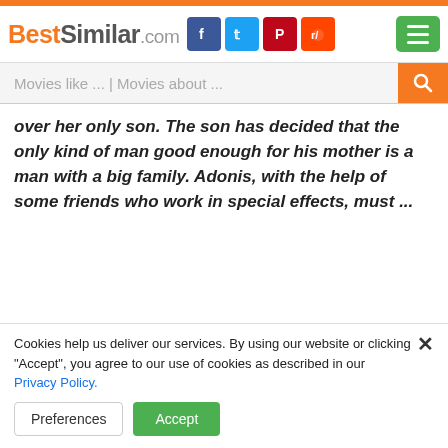BestSimilar.com
over her only son. The son has decided that the only kind of man good enough for his mother is a man with a big family. Adonis, with the help of some friends who work in special effects, must ...
Cookies help us deliver our services. By using our website or clicking "Accept", you agree to our use of cookies as described in our Privacy Policy.